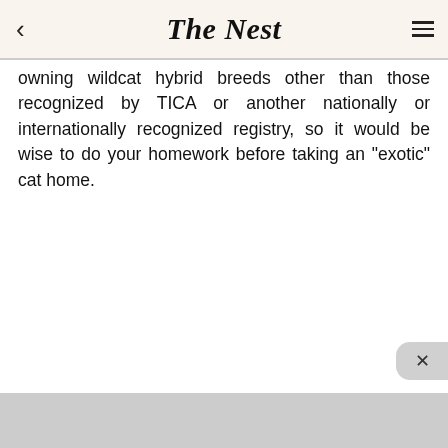The Nest
owning wildcat hybrid breeds other than those recognized by TICA or another nationally or internationally recognized registry, so it would be wise to do your homework before taking an "exotic" cat home.